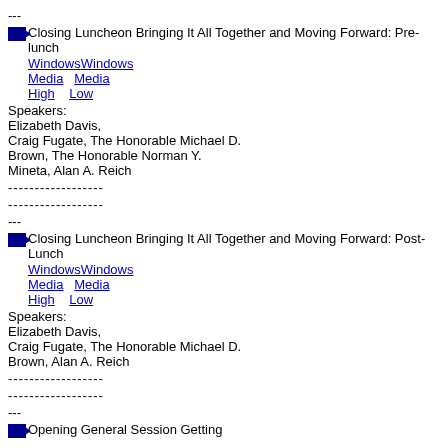---
Closing Luncheon Bringing It All Together and Moving Forward: Pre-lunch WindowsWindows Media  Media High  Low Speakers: Elizabeth Davis, Craig Fugate, The Honorable Michael D. Brown, The Honorable Norman Y. Mineta, Alan A. Reich
------------------
------------------
---
Closing Luncheon Bringing It All Together and Moving Forward: Post-Lunch WindowsWindows Media  Media High  Low Speakers: Elizabeth Davis, Craig Fugate, The Honorable Michael D. Brown, Alan A. Reich
------------------
------------------
---
Opening General Session Getting...